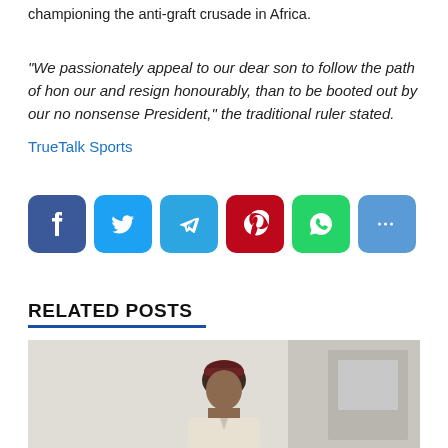championing the anti-graft crusade in Africa.
“We passionately appeal to our dear son to follow the path of hon our and resign honourably, than to be booted out by our no nonsense President,” the traditional ruler stated.
TrueTalk Sports
[Figure (infographic): Row of six social media sharing icons: Facebook (blue), Twitter (light blue), Telegram (blue), Pinterest (red), WhatsApp (green), Share/More (blue)]
RELATED POSTS
[Figure (photo): Photo of a man wearing a dark red/maroon traditional cap, seated, with a light-colored wall and what appears to be a door or vehicle in the background.]